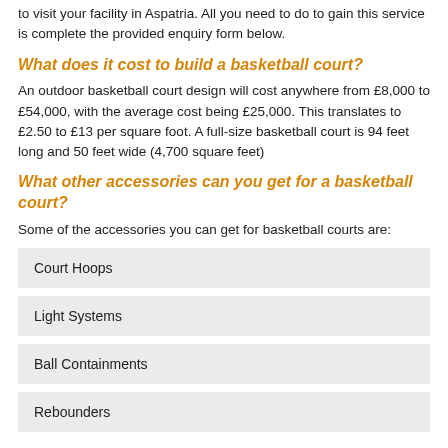to visit your facility in Aspatria. All you need to do to gain this service is complete the provided enquiry form below.
What does it cost to build a basketball court?
An outdoor basketball court design will cost anywhere from £8,000 to £54,000, with the average cost being £25,000. This translates to £2.50 to £13 per square foot. A full-size basketball court is 94 feet long and 50 feet wide (4,700 square feet)
What other accessories can you get for a basketball court?
Some of the accessories you can get for basketball courts are:
Court Hoops
Light Systems
Ball Containments
Rebounders